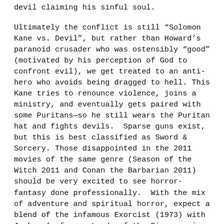devil claiming his sinful soul.
Ultimately the conflict is still “Solomon Kane vs. Devil”, but rather than Howard’s paranoid crusader who was ostensibly “good” (motivated by his perception of God to confront evil), we get treated to an anti-hero who avoids being dragged to hell. This Kane tries to renounce violence, joins a ministry, and eventually gets paired with some Puritans—so he still wears the Puritan hat and fights devils.  Sparse guns exist, but this is best classified as Sword & Sorcery. Those disappointed in the 2011 movies of the same genre (Season of the Witch 2011 and Conan the Barbarian 2011) should be very excited to see horror-fantasy done professionally.  With the mix of adventure and spiritual horror, expect a blend of the infamous Exorcist (1973) with Jackson’s famous Lords of the Rings movie trilogy.